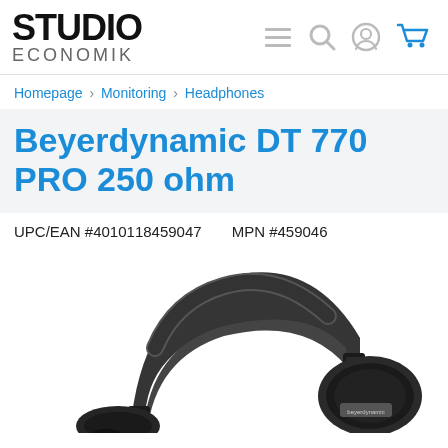STUDIO ECONOMIK
Homepage › Monitoring › Headphones
Beyerdynamic DT 770 PRO 250 ohm
UPC/EAN #4010118459047    MPN #459046
[Figure (photo): Beyerdynamic DT 770 PRO 250 ohm headphones — black over-ear studio headphones with padded headband, showing top arc and right ear cup with Beyerdynamic label]